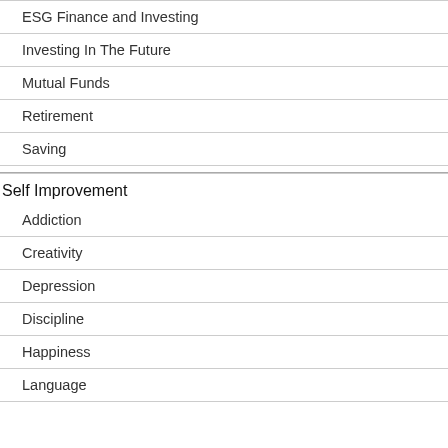ESG Finance and Investing
Investing In The Future
Mutual Funds
Retirement
Saving
Self Improvement
Addiction
Creativity
Depression
Discipline
Happiness
Language